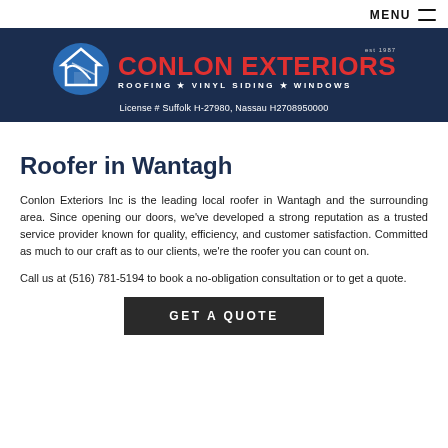MENU
[Figure (logo): Conlon Exteriors logo with shield icon, company name in red, tagline ROOFING VINYL SIDING WINDOWS, and license info: License # Suffolk H-27980, Nassau H2708950000]
Roofer in Wantagh
Conlon Exteriors Inc is the leading local roofer in Wantagh and the surrounding area. Since opening our doors, we've developed a strong reputation as a trusted service provider known for quality, efficiency, and customer satisfaction. Committed as much to our craft as to our clients, we're the roofer you can count on.
Call us at (516) 781-5194 to book a no-obligation consultation or to get a quote.
GET A QUOTE